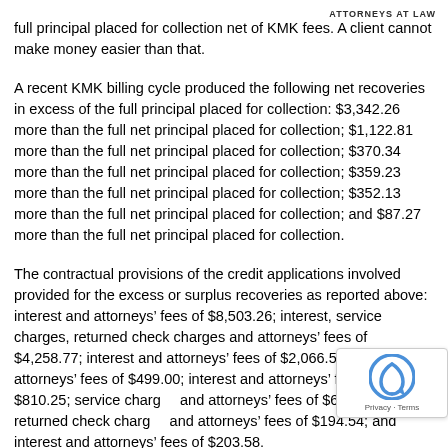ATTORNEYS AT LAW
full principal placed for collection net of KMK fees. A client cannot make money easier than that.
A recent KMK billing cycle produced the following net recoveries in excess of the full principal placed for collection: $3,342.26 more than the full net principal placed for collection; $1,122.81 more than the full net principal placed for collection; $370.34 more than the full net principal placed for collection; $359.23 more than the full net principal placed for collection; $352.13 more than the full net principal placed for collection; and $87.27 more than the full net principal placed for collection.
The contractual provisions of the credit applications involved provided for the excess or surplus recoveries as reported above: interest and attorneys’ fees of $8,503.26; interest, service charges, returned check charges and attorneys’ fees of $4,258.77; interest and attorneys’ fees of $2,066.55; interest and attorneys’ fees of $499.00; interest and attorneys’ fees of $810.25; service charges and attorneys’ fees of $695.52; returned check charges and attorneys’ fees of $194.54; and interest and attorneys’ fees of $203.58.